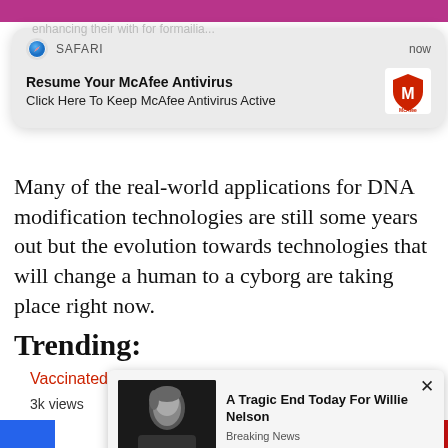[Figure (screenshot): Safari browser notification popup: 'Resume Your McAfee Antivirus / Click Here To Keep McAfee Antivirus Active' with McAfee logo, labeled SAFARI with timestamp 'now']
Many of the real-world applications for DNA modification technologies are still some years out but the evolution towards technologies that will change a human to a cyborg are taking place right now.
Trending:
Vaccinated blood is tainted blood, study finds
3k views
Take,
[Figure (screenshot): Ad popup showing photo of Willie Nelson with text 'A Tragic End Today For Willie Nelson / Breaking News', with X close button]